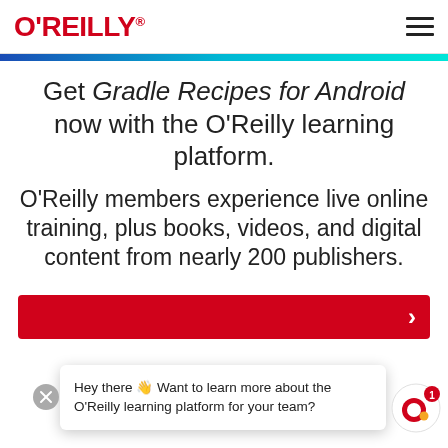[Figure (logo): O'REILLY logo in red with registered trademark symbol, and hamburger menu icon on the right]
[Figure (other): Horizontal gradient bar from dark blue to cyan/teal]
Get Gradle Recipes for Android now with the O'Reilly learning platform.
O'Reilly members experience live online training, plus books, videos, and digital content from nearly 200 publishers.
[Figure (other): Red button/banner with white arrow pointing right]
[Figure (other): Chat popup overlay with close button (X circle) and O'Reilly chat bubble icon with notification badge showing '1'. Chat text reads: Hey there 👋 Want to learn more about the O'Reilly learning platform for your team?]